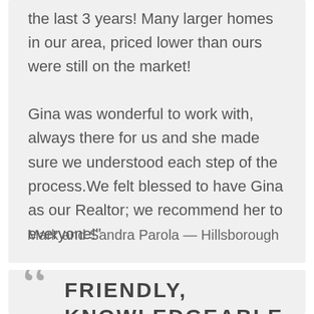the last 3 years! Many larger homes in our area, priced lower than ours were still on the market!

Gina was wonderful to work with, always there for us and she made sure we understood each step of the process.We felt blessed to have Gina as our Realtor; we recommend her to everyone!"
Mark and Sandra Parola — Hillsborough
FRIENDLY, KNOWLEDGEABLE, HELPFUL AND A GOOD NEGOTIATOR